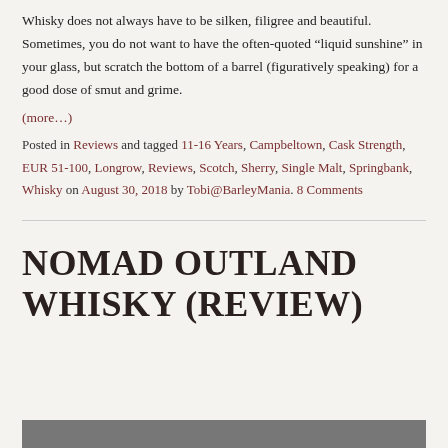Whisky does not always have to be silken, filigree and beautiful. Sometimes, you do not want to have the often-quoted “liquid sunshine” in your glass, but scratch the bottom of a barrel (figuratively speaking) for a good dose of smut and grime.
(more…)
Posted in Reviews and tagged 11-16 Years, Campbeltown, Cask Strength, EUR 51-100, Longrow, Reviews, Scotch, Sherry, Single Malt, Springbank, Whisky on August 30, 2018 by Tobi@BarleyMania. 8 Comments
NOMAD OUTLAND WHISKY (REVIEW)